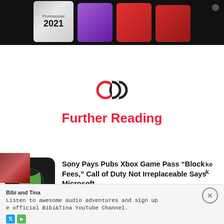[Figure (screenshot): Top banner showing Microsoft software product boxes (Windows 11 Professional 2021 and Office products) on dark background]
[Figure (logo): Linked rings icon in red and black representing 'Further Reading' section divider]
Further Reading
[Figure (photo): Article thumbnail showing Xbox logo on dark red/green background with share button overlay]
Sony Pays Pubs Xbox Game Pass “Block Fees,” Call of Duty Not Irreplaceable Says Microsoft
Nathan Birch
[Figure (screenshot): Bottom advertisement banner for Bibi and Tina with text: Listen to awesome audio adventures and sign up to the official Bibi&Tina YouTube Channel.]